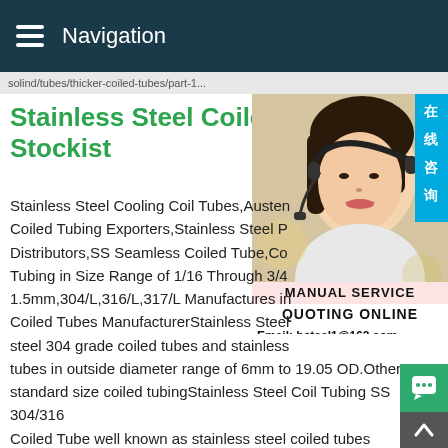Navigation
solind/tubes/thicker-coiled-tubes/part-1...
Stainless Steel Coiled Tubes, Stockist
[Figure (photo): Customer service representative wearing a headset, with an online consultation badge in Chinese (在线咨询) and service information overlay showing MANUAL SERVICE, QUOTING ONLINE, Email: bsteel1@163.com]
Stainless Steel Cooling Coil Tubes,Austen Coiled Tubing Exporters,Stainless Steel P Distributors,SS Seamless Coiled Tube,Co Tubing in Size Range of 1/16 Through 3/4 1.5mm,304/L,316/L,317/L Manufactures in Coiled Tubes ManufacturerStainless Steel steel 304 grade coiled tubes and stainless tubes in outside diameter range of 6mm to 19.05 OD.Other non standard size coiled tubingStainless Steel Coil Tubing SS 304/316 Coiled Tube well known as stainless steel coiled tubes manufacturer in India,ss coiled tubes,stainless steel coiled tub suppliers,astm a213 coiled tubes exporter,astm a249 coiled ,a a269 coil tubing dealer,astm a270 Stainless Steel coiled tubes